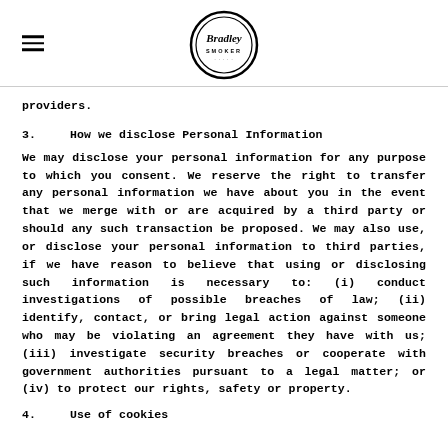Bradley Smoker logo with hamburger menu
providers.
3.      How we disclose Personal Information
We may disclose your personal information for any purpose to which you consent. We reserve the right to transfer any personal information we have about you in the event that we merge with or are acquired by a third party or should any such transaction be proposed. We may also use, or disclose your personal information to third parties, if we have reason to believe that using or disclosing such information is necessary to: (i) conduct investigations of possible breaches of law; (ii) identify, contact, or bring legal action against someone who may be violating an agreement they have with us; (iii) investigate security breaches or cooperate with government authorities pursuant to a legal matter; or (iv) to protect our rights, safety or property.
4.      Use of cookies